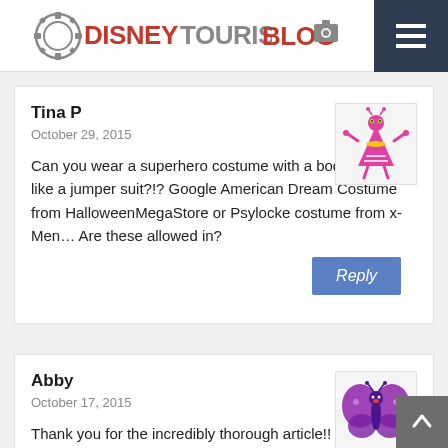DisneyTouristBlog
Tina P
October 29, 2015
Can you wear a superhero costume with a bodysuit? It's like a jumper suit?!? Google American Dream Costume from HalloweenMegaStore or Psylocke costume from x-Men… Are these allowed in?
Abby
October 17, 2015
Thank you for the incredibly thorough article!! I'm going with friends this year for the first time and I could not be more excited. This article answered SO MANY questions I've had so far. We have tickets for